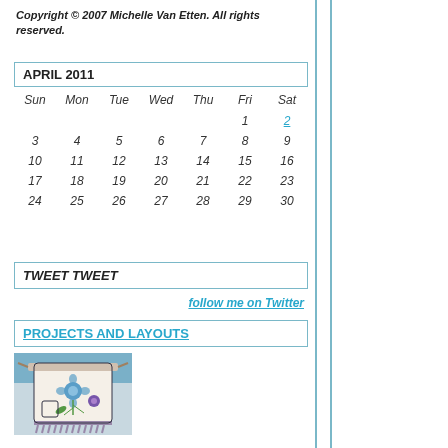Copyright © 2007 Michelle Van Etten. All rights reserved.
| Sun | Mon | Tue | Wed | Thu | Fri | Sat |
| --- | --- | --- | --- | --- | --- | --- |
|  |  |  |  |  | 1 | 2 |
| 3 | 4 | 5 | 6 | 7 | 8 | 9 |
| 10 | 11 | 12 | 13 | 14 | 15 | 16 |
| 17 | 18 | 19 | 20 | 21 | 22 | 23 |
| 24 | 25 | 26 | 27 | 28 | 29 | 30 |
TWEET TWEET
follow me on Twitter
PROJECTS AND LAYOUTS
[Figure (photo): Decorative embroidered apron with floral design and fringe trim]